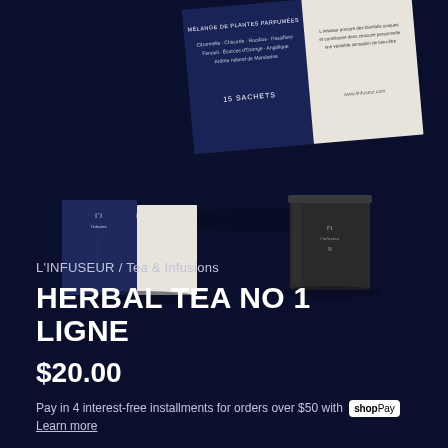[Figure (photo): Product photo showing L'Infuseur herbal tea box (navy/white packaging with French text and '15 SACHETS') floating at top, and two smaller product images (box and candle/glass jar) in lower portion, all on dark navy background.]
L'INFUSEUR / Tea & Infusions
HERBAL TEA NO 1 LIGNE
$20.00
Pay in 4 interest-free installments for orders over $50 with shop Pay
Learn more